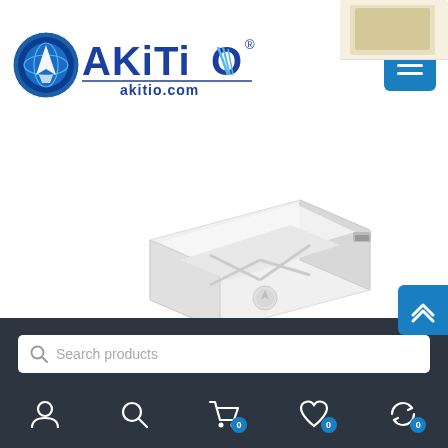[Figure (logo): AKiTiO logo with globe icon and text 'AKiTiO akitio.com' in blue]
[Figure (screenshot): Screenshot of AKiTiO website showing white portable storage device on white background, with hamburger menu button in top right, search bar, and navigation icons (user, search, cart with 0, wishlist with 0, compare with 0) on dark bottom bar]